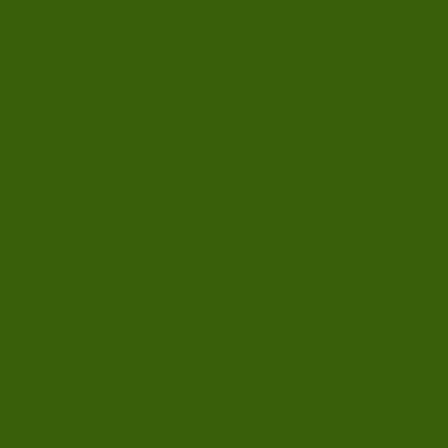[Figure (photo): Large dark olive/forest green rectangular panel occupying the left portion of the page]
On other news----- him try it on.  It was that the ultra suede off the whole front o pockets.  I know, I' couldn't think of a n from the beginning, checking and doub Cascade Yarns in a vest, but the ultra s on last night so I d when I'm ready to p else later, I'm sure!
Weekend before la them out to eat on influence on me (in first skein was "Ace see what it was go is pooling and there like the effect.  I'll c least.  It's a pretty garter stitch rows w they both look the